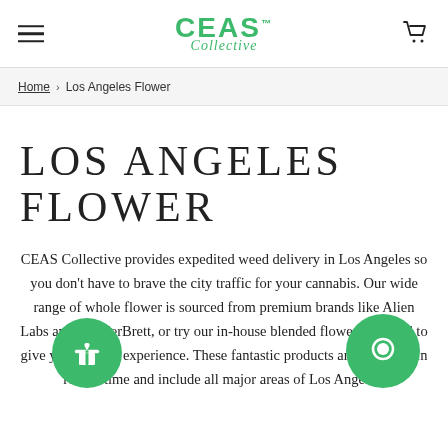CEAS Collective
Home › Los Angeles Flower
LOS ANGELES FLOWER
CEAS Collective provides expedited weed delivery in Los Angeles so you don't have to brave the city traffic for your cannabis. Our wide range of whole flower is sourced from premium brands like Alien Labs and WonderBrett, or try our in-house blended flowers blended to give you the best experience. These fantastic products are delivered in record time and include all major areas of Los Angeles.